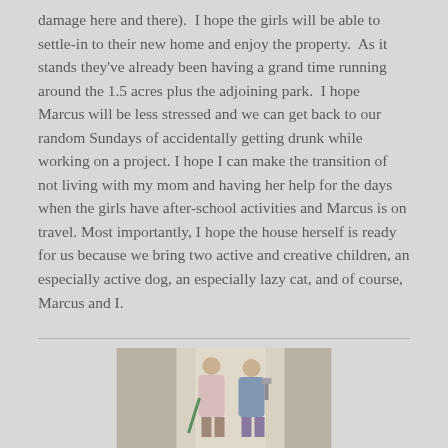damage here and there).  I hope the girls will be able to settle-in to their new home and enjoy the property.  As it stands they've already been having a grand time running around the 1.5 acres plus the adjoining park.  I hope Marcus will be less stressed and we can get back to our random Sundays of accidentally getting drunk while working on a project. I hope I can make the transition of not living with my mom and having her help for the days when the girls have after-school activities and Marcus is on travel. Most importantly, I hope the house herself is ready for us because we bring two active and creative children, an especially active dog, an especially lazy cat, and of course, Marcus and I.
[Figure (photo): Two children viewed from behind, appearing to be working on or inspecting white columns or pillars. One child is wearing a pink/light top, the other a blue top. One holds what appears to be a green stick or tool.]